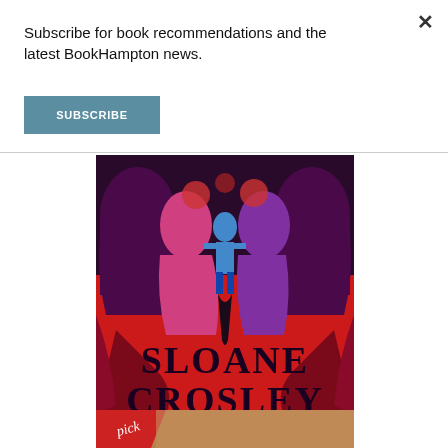Subscribe for book recommendations and the latest BookHampton news.
SUBSCRIBE
[Figure (illustration): Book cover for Sloane Crosley, red background with stylized silhouette figures in purple and pink, with a blue figure in the center, text reads SLOANE CROSLEY, AUTHOR OF I WAS TOLD THERE'D BE CAKE]
[Figure (photo): Partial view of another book cover at the bottom of the page, with a red ribbon/banner and the word 'pick']